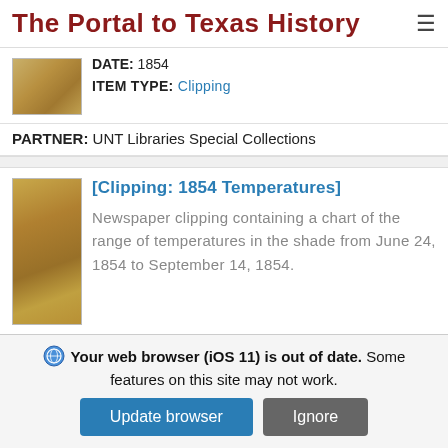The Portal to Texas History
DATE: 1854
ITEM TYPE: Clipping
PARTNER: UNT Libraries Special Collections
[Clipping: 1854 Temperatures]
Newspaper clipping containing a chart of the range of temperatures in the shade from June 24, 1854 to September 14, 1854.
Your web browser (iOS 11) is out of date. Some features on this site may not work.